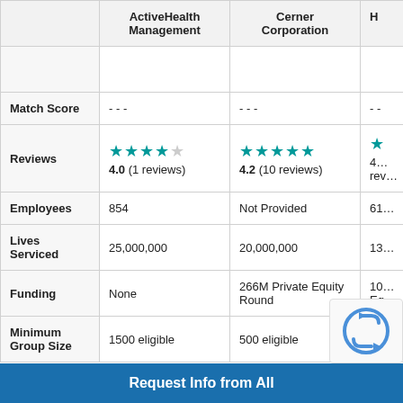|  | ActiveHealth Management | Cerner Corporation | H… |
| --- | --- | --- | --- |
| Match Score | --- | --- | -- |
| Reviews | 4.0 (1 reviews) | 4.2 (10 reviews) | 4… |
| Employees | 854 | Not Provided | 61… |
| Lives Serviced | 25,000,000 | 20,000,000 | 13… |
| Funding | None | 266M Private Equity Round | 10… Eq… |
| Minimum Group Size | 1500 eligible | 500 eligible | … |
Request Info from All